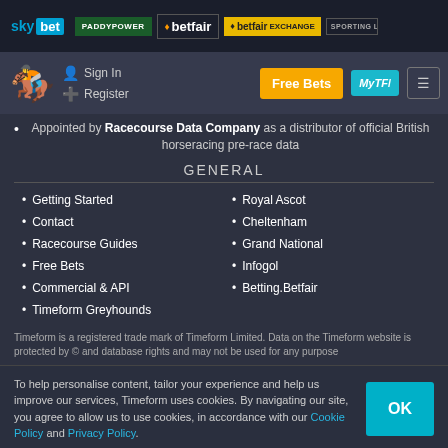Sky Bet | PaddyPower | betfair | betfair Exchange | Sporting Life
[Figure (logo): Timeform logo with horse and jockey icon, Sign In and Register links]
Appointed by Racecourse Data Company as a distributor of official British horseracing pre-race data
GENERAL
Getting Started
Royal Ascot
Contact
Cheltenham
Racecourse Guides
Grand National
Free Bets
Infogol
Commercial & API
Betting.Betfair
Timeform Greyhounds
Timeform is a registered trade mark of Timeform Limited. Data on the Timeform website is protected by © and database rights and may not be used for any purpose
To help personalise content, tailor your experience and help us improve our services, Timeform uses cookies. By navigating our site, you agree to allow us to use cookies, in accordance with our Cookie Policy and Privacy Policy.